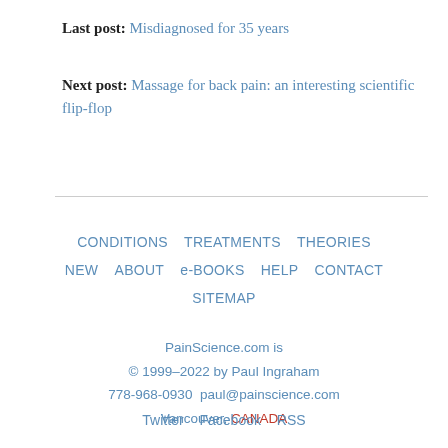Last post: Misdiagnosed for 35 years
Next post: Massage for back pain: an interesting scientific flip-flop
CONDITIONS  TREATMENTS  THEORIES  NEW  ABOUT  e-BOOKS  HELP  CONTACT  SITEMAP
PainScience.com is © 1999–2022 by Paul Ingraham 778-968-0930  paul@painscience.com Vancouver, CANADA
Twitter  Facebook  RSS